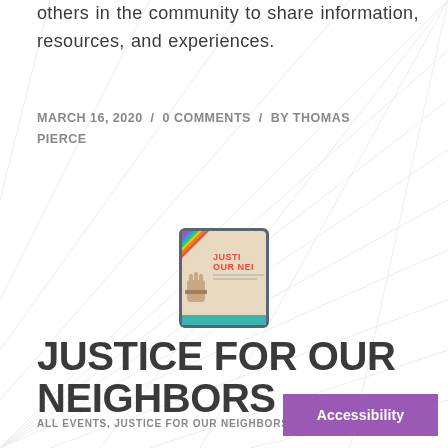others in the community to share information, resources, and experiences.
MARCH 16, 2020  /  0 COMMENTS  /  BY THOMAS PIERCE
[Figure (illustration): Small thumbnail image showing a raised fist with rainbow triangle, text reading JUSTICE FOR OUR NEIGHBORS]
JUSTICE FOR OUR NEIGHBORS
ALL EVENTS, JUSTICE FOR OUR NEIGHBORS